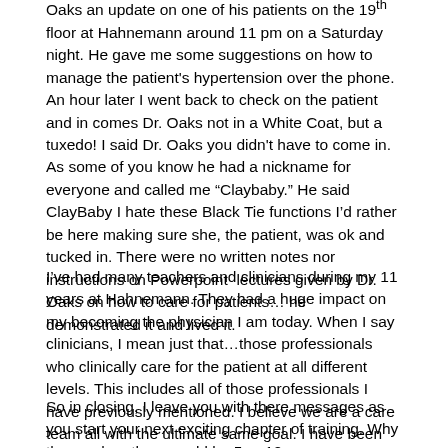Oaks an update on one of his patients on the 19th floor at Hahnemann around 11 pm on a Saturday night. He gave me some suggestions on how to manage the patient's hypertension over the phone. An hour later I went back to check on the patient and in comes Dr. Oaks not in a White Coat, but a tuxedo! I said Dr. Oaks you didn't have to come in. As some of you know he had a nickname for everyone and called me “Claybaby.” He said ClayBaby I hate these Black Tie functions I’d rather be here making sure she, the patient, was ok and tucked in. There were no written notes nor instructions on Powerpoint  lectures given by Dr. Oaks on how to care for patients… he demonstrated it and lived it.
I’ve had many teachers and clinicians during my 11 years at Hahnemann. They had a huge impact on my becoming the physician I am today. When I say clinicians, I mean just that…those professionals who clinically care for the patient at all different levels. This includes all of those professionals I have previously mentioned. I believe we are a care team all with the ultimate same goal. I have been blessed surrounded by wonderful people here and my 19 years of Chester County Hospital in West Chester.
So in closing, I leave you with there messages as you start your next exciting chapter of training. Why three, when there could be 5 or 10,